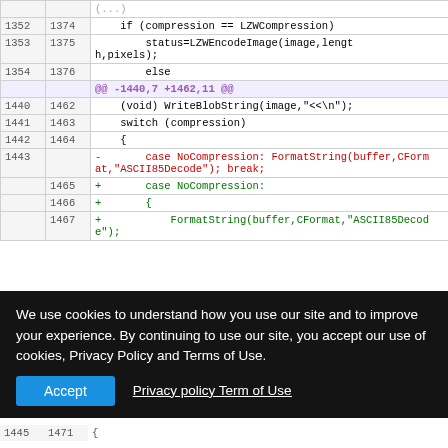| old | new | code |
| --- | --- | --- |
|  |  | (...) |
| 1352 | 1374 |     if (compression == LZWCompression) |
| 1353 | 1375 |         status=LZWEncodeImage(image,length,pixels); |
| 1354 | 1376 |         else |
|  |  | @@ -1440,7 +1462,11 @@ |
| 1440 | 1462 |     (void) WriteBlobString(image,"<<\n"); |
| 1441 | 1463 |     switch (compression) |
| 1442 | 1464 |     { |
| 1443 |  | -       case NoCompression: FormatString(buffer,CFormat,"ASCII85Decode"); break; |
|  | 1465 | +       case NoCompression: |
|  | 1466 | +       { |
|  | 1467 | +           FormatString(buffer,CFormat,"ASCII85Decode"); |
| 1445 | 1471 |     { |
We use cookies to understand how you use our site and to improve your experience. By continuing to use our site, you accept our use of cookies, Privacy Policy and Terms of Use.
Accept   Privacy policy   Term of Use